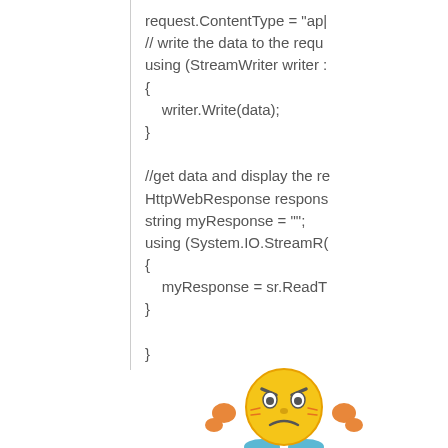request.ContentType = "ap|
// write the data to the requ
using (StreamWriter writer :
{
    writer.Write(data);
}

//get data and display the re
HttpWebResponse respons
string myResponse = "";
using (System.IO.StreamR(
{
    myResponse = sr.ReadT
}

}
[Figure (illustration): A yellow emoji character with an angry/frustrated expression, orange hands on hips/cheeks, and blue feet/base.]